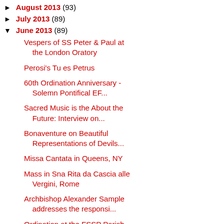► August 2013 (93)
► July 2013 (89)
▼ June 2013 (89)
Vespers of SS Peter & Paul at the London Oratory
Perosi's Tu es Petrus
60th Ordination Anniversary - Solemn Pontifical EF...
Sacred Music is the About the Future: Interview on...
Bonaventure on Beautiful Representations of Devils...
Missa Cantata in Queens, NY
Mass in Sna Rita da Cascia alle Vergini, Rome
Archbishop Alexander Sample addresses the responsi...
Ordination at the FSSP Parish